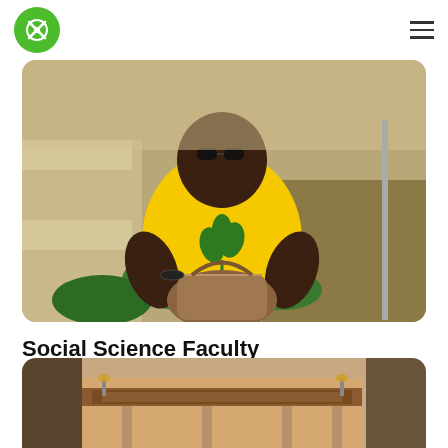Navigation header with logo and hamburger menu
[Figure (photo): Person wearing a yellow t-shirt with green leaf design, sitting outdoors on steps with a handbag, wearing sunglasses]
Social Science Faculty
Kumasi, Ghana, GPS: 6.6748934,-1.5654683
[Figure (photo): Exterior of a building with warm brown tones, appears to be a commercial or campus building with signage]